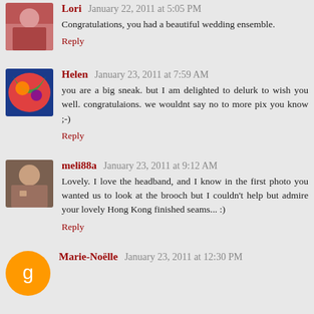Lori January 22, 2011 at 5:05 PM
Congratulations, you had a beautiful wedding ensemble.
Reply
Helen January 23, 2011 at 7:59 AM
you are a big sneak. but I am delighted to delurk to wish you well. congratulaions. we wouldnt say no to more pix you know ;-)
Reply
meli88a January 23, 2011 at 9:12 AM
Lovely. I love the headband, and I know in the first photo you wanted us to look at the brooch but I couldn't help but admire your lovely Hong Kong finished seams... :)
Reply
Marie-Noëlle January 23, 2011 at 12:30 PM